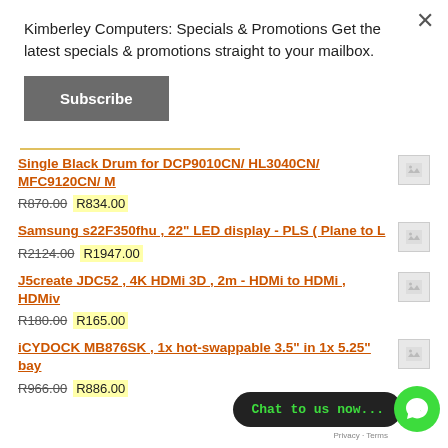Kimberley Computers: Specials & Promotions Get the latest specials & promotions straight to your mailbox.
Subscribe
Single Black Drum for DCP9010CN/ HL3040CN/ MFC9120CN/ M
R870.00  R834.00
Samsung s22F350fhu , 22" LED display - PLS ( Plane to L
R2124.00  R1947.00
J5create JDC52 , 4K HDMi 3D , 2m - HDMi to HDMi , HDMiv
R180.00  R165.00
iCYDOCK MB876SK , 1x hot-swappable 3.5" in 1x 5.25" bay
R966.00  R886.00
Chat to us now...